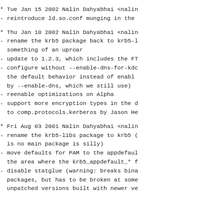* Tue Jan 15 2002 Nalin Dahyabhai <nalin
- reintroduce ld.so.conf munging in the
* Thu Jan 10 2002 Nalin Dahyabhai <nalin
- rename the krb5 package back to krb5-l  something of an uproar
- update to 1.2.3, which includes the FT
- configure without --enable-dns-for-kdc  the default behavior instead of enabl  by --enable-dns, which we still use)
- reenable optimizations on Alpha
- support more encryption types in the d  to comp.protocols.kerberos by Jason He
* Fri Aug 03 2001 Nalin Dahyabhai <nalin
- rename the krb5-libs package to krb5 (  is no main package is silly)
- move defaults for PAM to the appdefaul  the area where the krb5_appdefault_* f
- disable statglue (warning: breaks bina  packages, but has to be broken at some  unpatched versions built with newer ve